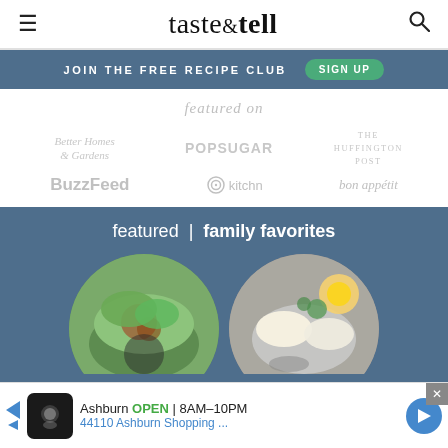taste & tell
JOIN THE FREE RECIPE CLUB  SIGN UP
featured on
[Figure (logo): Media logos: Better Homes & Gardens, POPSUGAR, The Huffington Post, BuzzFeed, kitchn, bon appétit]
featured | family favorites
[Figure (photo): Two circular food photos: lettuce wraps on left, soup bowls on right]
Ashburn OPEN 8AM–10PM 44110 Ashburn Shopping ...